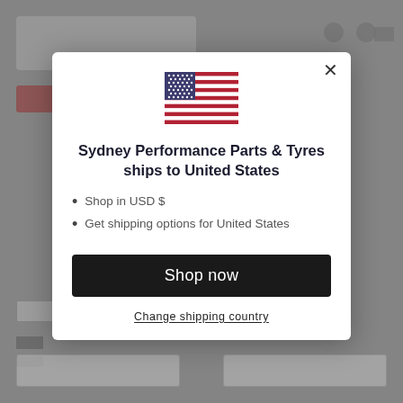[Figure (screenshot): Website background showing a performance parts e-commerce site header with logo, navigation icons, and page content blurred behind modal overlay]
[Figure (illustration): US flag icon centered at top of modal dialog]
Sydney Performance Parts & Tyres ships to United States
Shop in USD $
Get shipping options for United States
Shop now
Change shipping country